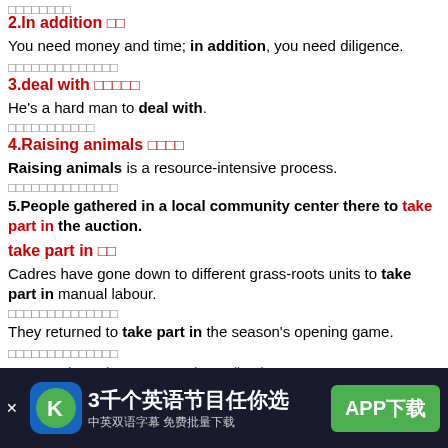（顶部中文省略）
2.In addition 此外
You need money and time; in addition, you need diligence.
你需要钱和时间；此外，你还需要勤奋。
3.deal with 处理；对付
He's a hard man to deal with.
他是个难以相处的人。
4.Raising animals 饲养动物
Raising animals is a resource-intensive process.
饲养动物是一个资源密集型的过程。
5.People gathered in a local community center there to take part in the auction.
take part in 参加
Cadres have gone down to different grass-roots units to take part in manual labour.
干部们下到不同的基层单位参加体力劳动。
They returned to take part in the season's opening game.
他们回来参加本赛季的揭幕战。
[Figure (screenshot): Advertisement banner: 3千个英语节目任你选 中英双语字幕 免费批量下载 APP下载]